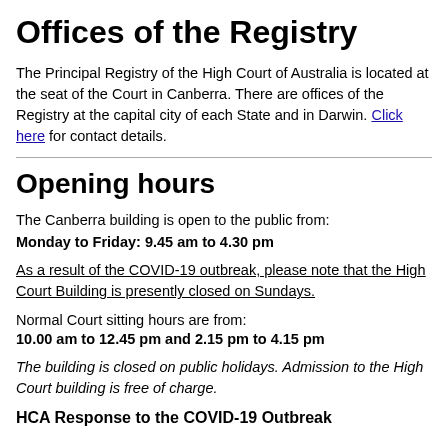Offices of the Registry
The Principal Registry of the High Court of Australia is located at the seat of the Court in Canberra. There are offices of the Registry at the capital city of each State and in Darwin. Click here for contact details.
Opening hours
The Canberra building is open to the public from:
Monday to Friday: 9.45 am to 4.30 pm
As a result of the COVID-19 outbreak, please note that the High Court Building is presently closed on Sundays.
Normal Court sitting hours are from:
10.00 am to 12.45 pm and 2.15 pm to 4.15 pm
The building is closed on public holidays. Admission to the High Court building is free of charge.
HCA Response to the COVID-19 Outbreak